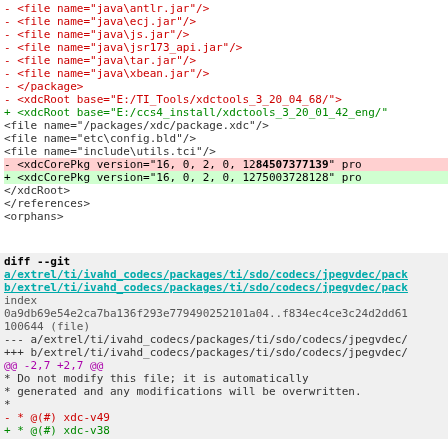diff code snippet showing removed/added XML lines and a git diff header with file paths and hunk context
- <file name="java\antlr.jar"/>
- <file name="java\ecj.jar"/>
- <file name="java\js.jar"/>
- <file name="java\jsr173_api.jar"/>
- <file name="java\tar.jar"/>
- <file name="java\xbean.jar"/>
- </package>
- <xdcRoot base="E:/TI_Tools/xdctools_3_20_04_68/">
+ <xdcRoot base="E:/ccs4_install/xdctools_3_20_01_42_eng/"
  <file name="/packages/xdc/package.xdc"/>
  <file name="etc\config.bld"/>
  <file name="include\utils.tci"/>
- <xdcCorePkg version="16, 0, 2, 0, 1284507377139" pro
+ <xdcCorePkg version="16, 0, 2, 0, 1275003728128" pro
  </xdcRoot>
  </references>
  <orphans>
diff --git
a/extrel/ti/ivahd codecs/packages/ti/sdo/codecs/jpegvdec/pack
b/extrel/ti/ivahd codecs/packages/ti/sdo/codecs/jpegvdec/pack
index
0a9db69e54e2ca7ba136f293e779490252101a04..f834ec4ce3c24d2dd61
100644 (file)
--- a/extrel/ti/ivahd_codecs/packages/ti/sdo/codecs/jpegvdec/
+++ b/extrel/ti/ivahd_codecs/packages/ti/sdo/codecs/jpegvdec/
@@ -2,7 +2,7 @@
 * Do not modify this file; it is automatically
 * generated and any modifications will be overwritten.
 *
- * @(#) xdc-v49
+ * @(#) xdc-v38